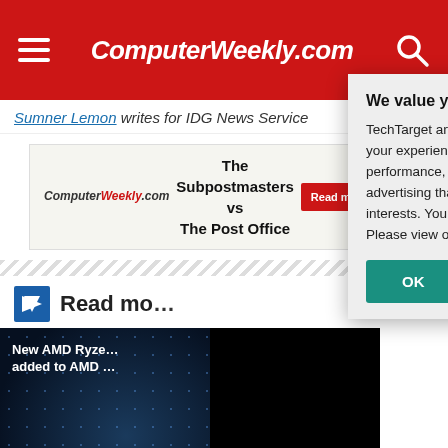ComputerWeekly.com
Sumner Lemon writes for IDG News Service
[Figure (advertisement): ComputerWeekly.com banner ad: 'The Subpostmasters vs The Post Office' with 'Read more here' red button]
Read mo...
[Figure (screenshot): Article card: 'New AMD Ryze... added to AMD...' by Sabrina Polin... on dark blue background with dots]
x86-64
We value your privacy.
TechTarget and its partners employ cookies to improve your experience on our site, to analyze traffic and performance, and to serve personalized content and advertising that are relevant to your professional interests. You can manage your settings at any time. Please view our Privacy Policy for more information